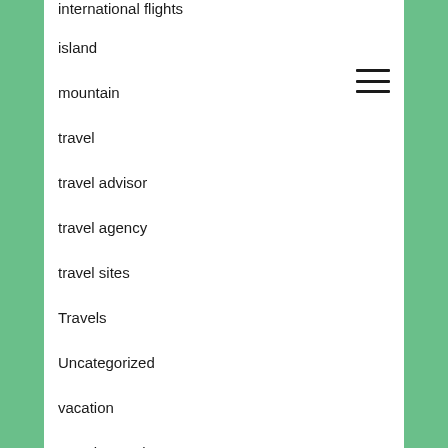international flights
island
mountain
travel
travel advisor
travel agency
travel sites
Travels
Uncategorized
vacation
vacation packages